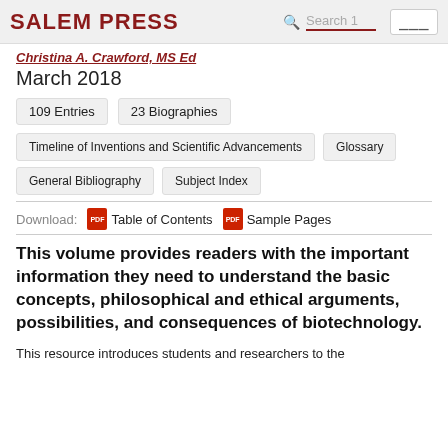SALEM PRESS   Search 1
Christina A. Crawford, MS Ed
March 2018
109 Entries
23 Biographies
Timeline of Inventions and Scientific Advancements
Glossary
General Bibliography
Subject Index
Download:   Table of Contents   Sample Pages
This volume provides readers with the important information they need to understand the basic concepts, philosophical and ethical arguments, possibilities, and consequences of biotechnology.
This resource introduces students and researchers to the